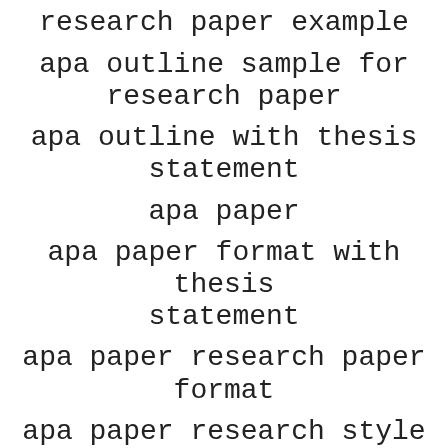research paper example
apa outline sample for research paper
apa outline with thesis statement
apa paper
apa paper format with thesis statement
apa paper research paper format
apa paper research style